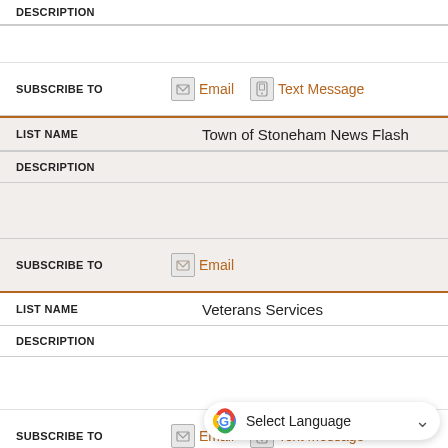| DESCRIPTION |  |
| --- | --- |
SUBSCRIBE TO  Email  Text Message
| LIST NAME | Town of Stoneham News Flash |
| --- | --- |
| DESCRIPTION |  |
| SUBSCRIBE TO | Email |
| LIST NAME | Veterans Services |
| --- | --- |
| DESCRIPTION |  |
SUBSCRIBE TO  Email  Text Message
| LIST NAME | Water & Sewer Review Board |
| --- | --- |